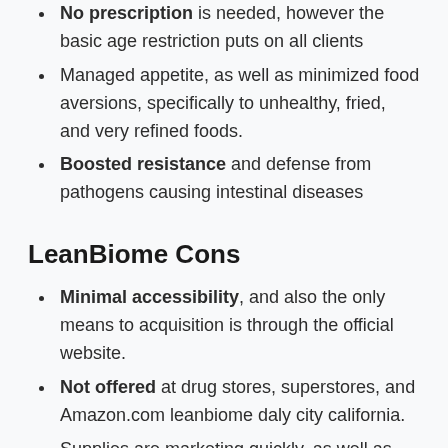No prescription is needed, however the basic age restriction puts on all clients
Managed appetite, as well as minimized food aversions, specifically to unhealthy, fried, and very refined foods.
Boosted resistance and defense from pathogens causing intestinal diseases
LeanBiome Cons
Minimal accessibility, and also the only means to acquisition is through the official website.
Not offered at drug stores, superstores, and Amazon.com leanbiome daly city california.
Supplies are marketing quickly, as well as there is a high chance of stock ending